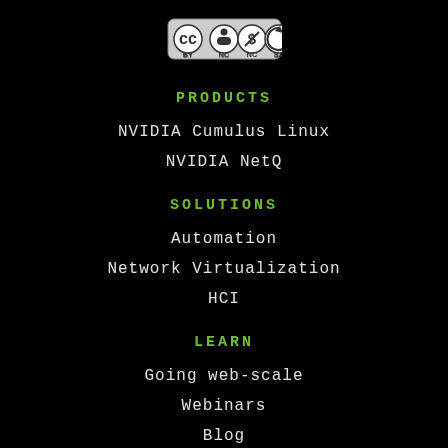[Figure (logo): Creative Commons BY NC SA license badge]
PRODUCTS
NVIDIA Cumulus Linux
NVIDIA NetQ
SOLUTIONS
Automation
Network Virtualization
HCI
LEARN
Going web-scale
Webinars
Blog